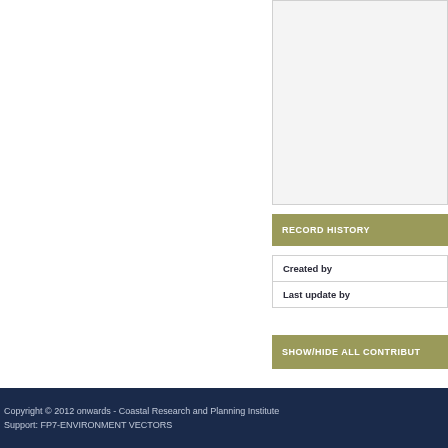[Figure (other): Light gray content panel on the right side, partially visible, appears to be a form or metadata section]
RECORD HISTORY
| Created by |  |
| Last update by |  |
SHOW/HIDE ALL CONTRIBUT…
Copyright © 2012 onwards - Coastal Research and Planning Institute
Support: FP7-ENVIRONMENT VECTORS